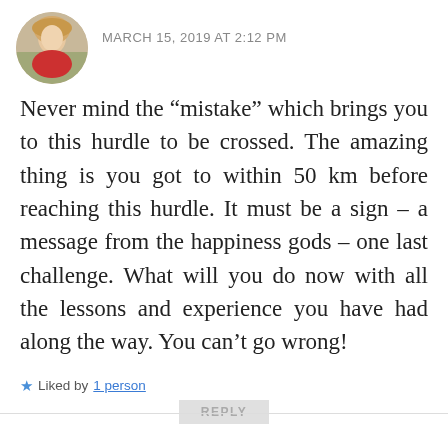MARCH 15, 2019 AT 2:12 PM
Never mind the “mistake” which brings you to this hurdle to be crossed. The amazing thing is you got to within 50 km before reaching this hurdle. It must be a sign – a message from the happiness gods – one last challenge. What will you do now with all the lessons and experience you have had along the way. You can’t go wrong!
★ Liked by 1 person
REPLY
Mr A boyce